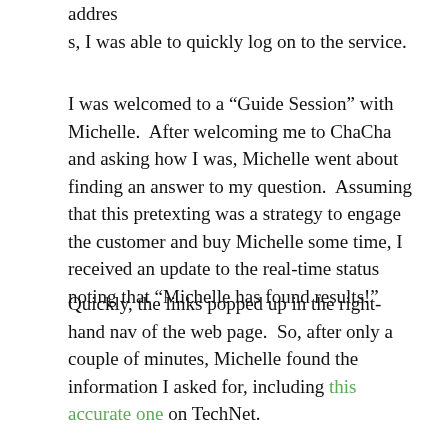addres
s, I was able to quickly log on to the service.
I was welcomed to a “Guide Session” with Michelle.  After welcoming me to ChaCha and asking how I was, Michelle went about finding an answer to my question.  Assuming that this pretexting was a strategy to engage the customer and buy Michelle some time, I received an update to the real-time status noting that “Michelle has found results!”
Quickly, the links popped up in the right-hand nav of the web page.  So, after only a couple of minutes, Michelle found the information I asked for, including this accurate one on TechNet.